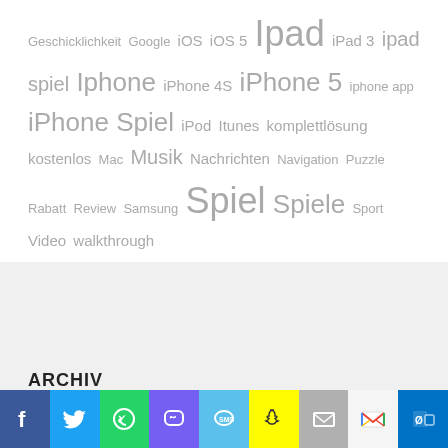Geschicklichkeit Google iOS iOS 5 Ipad iPad 3 ipad spiel Iphone iPhone 4S iPhone 5 iphone app iPhone Spiel iPod Itunes komplettlösung kostenlos Mac Musik Nachrichten Navigation Puzzle Rabatt Review Samsung Spiel Spiele Sport Video walkthrough
ARCHIV
Februar 2016 (1)
Januar 2016 (1)
November 2015 (1)
[Figure (infographic): Social media sharing bar with icons: Facebook, Twitter, WhatsApp, Viber, SMS, Snapchat, Mail, Gmail, Outlook]